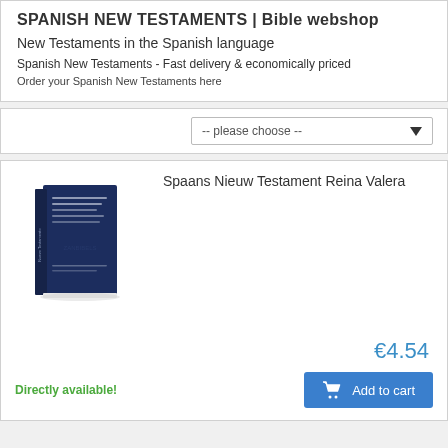SPANISH NEW TESTAMENTS | Bible webshop
New Testaments in the Spanish language
Spanish New Testaments - Fast delivery & economically priced
Order your Spanish New Testaments here
[Figure (screenshot): Dropdown selector with text '-- please choose --']
[Figure (photo): Photo of a dark blue book - Spaans Nieuw Testament Reina Valera]
Spaans Nieuw Testament Reina Valera
€4.54
Directly available!
Add to cart